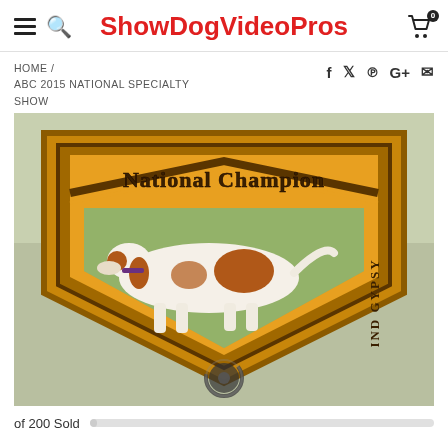ShowDogVideoPros
HOME / ABC 2015 NATIONAL SPECIALTY SHOW
[Figure (illustration): National Champion badge/emblem with a Brittany Spaniel dog on a grassy background. The badge is shield-shaped with a gold/yellow border and brown text reading 'National Champion'. The text 'IND GYPSY' is visible on the right side. A loading spinner circle appears at the bottom center of the image.]
of 200 Sold